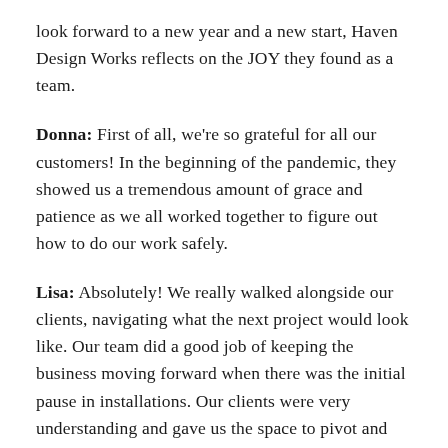look forward to a new year and a new start, Haven Design Works reflects on the JOY they found as a team.
Donna: First of all, we're so grateful for all our customers! In the beginning of the pandemic, they showed us a tremendous amount of grace and patience as we all worked together to figure out how to do our work safely.
Lisa: Absolutely! We really walked alongside our clients, navigating what the next project would look like. Our team did a good job of keeping the business moving forward when there was the initial pause in installations. Our clients were very understanding and gave us the space to pivot and establish a new way of working that ensured everyone was safe.